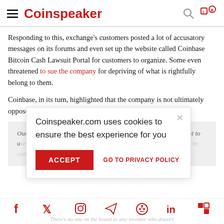Coinspeaker
Responding to this, exchange's customers posted a lot of accusatory messages on its forums and even set up the website called Coinbase Bitcoin Cash Lawsuit Portal for customers to organize. Some even threatened to sue the company for depriving of what is rightfully belong to them.
Coinbase, in its turn, highlighted that the company is not ultimately opposed to adding new assets in the future:
Our goal is to be the safest, most trusted and compliant, and easiest to use. Not the first to market with new assets. Especially not until we're confident that any new asset we add is well tested and secured.
Coinspeaker.com uses cookies to ensure the best experience for you
ACCEPT   GO TO PRIVACY POLICY
And Coinbase's investors shared its position:
There's no one on the board or any investor who doesn't